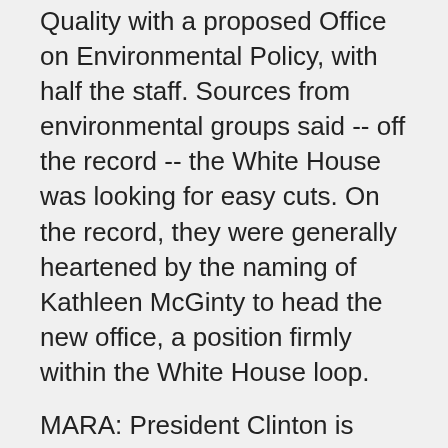Quality with a proposed Office on Environmental Policy, with half the staff. Sources from environmental groups said -- off the record -- the White House was looking for easy cuts. On the record, they were generally heartened by the naming of Kathleen McGinty to head the new office, a position firmly within the White House loop.
MARA: President Clinton is gonna have to make some tough decisions for the United States, and we're delighted that in those tough decisions the environment is going to be a key consideration.
VAN OSS: Mary Mara is director of Environmental Quality at the National Wildlife Federation. She says Kathleen McGinty is part of the "new order" that solidifies Vice-President Gore's central role in environmental policy. Both McGinty, a lawyer, and EPA's administrator Carol Browner were close aides to the Vice President when he